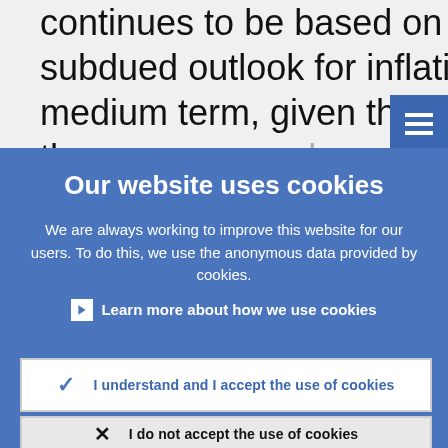continues to be based on an unchanged overall subdued outlook for inflation extending into the medium term, given the broad-based weakness in the economy and
Our website uses cookies
We are always working to improve this website for our users. To do this, we use the anonymous data provided by cookies.
Learn more about how we use cookies
I understand and I accept the use of cookies
I do not accept the use of cookies